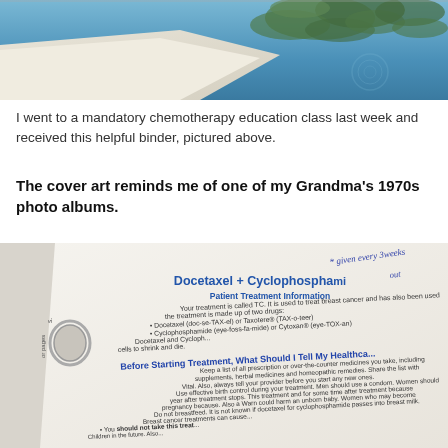[Figure (photo): Photo of a white binder with a scenic Mediterranean-style cover showing blue water and a tree, photographed from above on a white surface]
I went to a mandatory chemotherapy education class last week and received this helpful binder, pictured above.
The cover art reminds me of one of my Grandma's 1970s photo albums.
[Figure (photo): Photo of an open binder showing a medical document titled 'Docetaxel + Cyclophosphamide - Patient Treatment Information' with handwritten note 'given every 3weeks' at top, showing sections including 'Before Starting Treatment, What Should I Tell My Healthcare...']